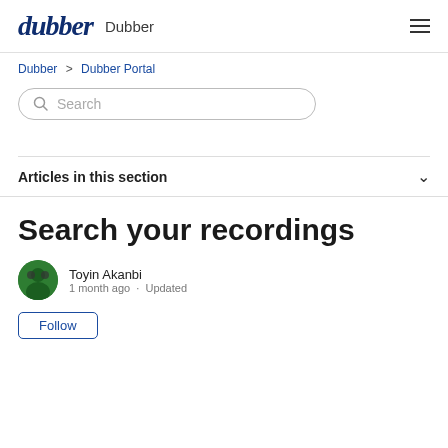dubber  Dubber
Dubber > Dubber Portal
Search
Articles in this section
Search your recordings
Toyin Akanbi
1 month ago · Updated
Follow